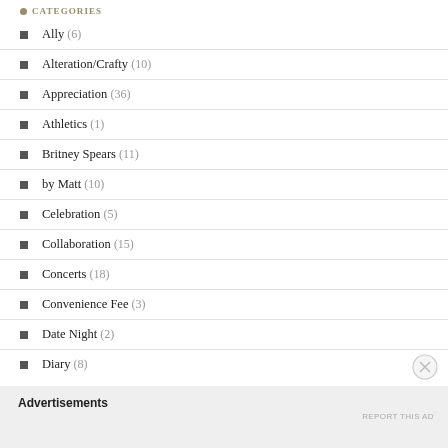CATEGORIES
Ally (6)
Alteration/Crafty (10)
Appreciation (36)
Athletics (1)
Britney Spears (11)
by Matt (10)
Celebration (5)
Collaboration (15)
Concerts (18)
Convenience Fee (3)
Date Night (2)
Diary (8)
Advertisements
REPORT THIS AD